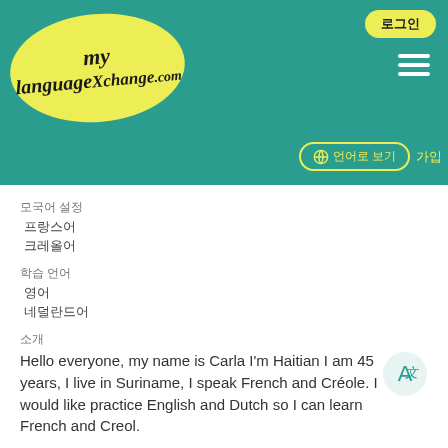[Figure (logo): MyLanguageExchange.com logo in yellow oval on teal header background]
로그인 (login button) | hamburger menu | 언어 선택 (language selector) | 가입
모국어 설정
프랑스어
크레올어
학습 언어
영어
네덜란드어
소개
Hello everyone, my name is Carla I'm Haitian I am 45 years, I live in Suriname, I speak French and Créole. I would like practice English and Dutch so I can learn French and Creol.
사진
[Figure (illustration): Yellow smiley face emoji / avatar icon]